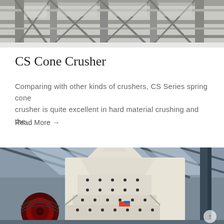[Figure (photo): Industrial machinery or structural steel framework in a warehouse/factory setting, viewed from below at an angle, showing grey metal beams and frames.]
CS Cone Crusher
Comparing with other kinds of crushers, CS Series spring cone crusher is quite excellent in hard material crushing and the…
Read More →
[Figure (photo): A large cream/off-white colored cone crusher machine inside an industrial factory with steel roof trusses. A red flywheel pulley is visible on the left side. A small up-arrow scroll button appears in the bottom-right corner.]